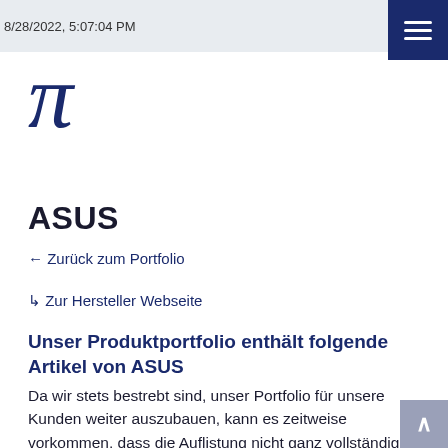8/28/2022, 5:07:04 PM
[Figure (logo): Pi symbol logo in dark navy blue, large italic serif pi character]
ASUS
← Zurück zum Portfolio
↳ Zur Hersteller Webseite
Unser Produktportfolio enthält folgende Artikel von ASUS
Da wir stets bestrebt sind, unser Portfolio für unsere Kunden weiter auszubauen, kann es zeitweise vorkommen, dass die Auflistung nicht ganz vollständig ist. Wir bitten hierfür um Verständnis.